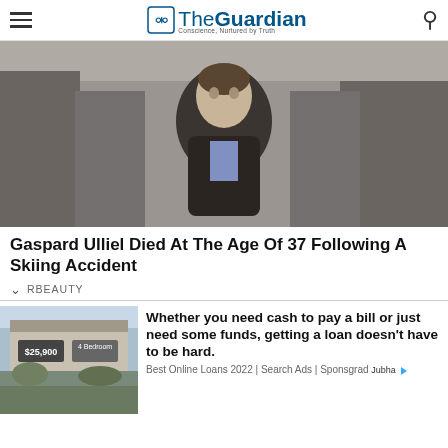The Guardian — Conscience, Nurtured by Truth
[Figure (photo): A young man with dark hair in a dark jacket stands with hands pressed together in a prayer gesture, surrounded by photographers with cameras at what appears to be a press event.]
Gaspard Ulliel Died At The Age Of 37 Following A Skiing Accident
RBEAUTY
[Figure (photo): Advertisement image showing a manufactured home with a $25,900 price sign and a 4 Bedroom sign, with a landscape photo below.]
Whether you need cash to pay a bill or just need some funds, getting a loan doesn't have to be hard.
Best Online Loans 2022 | Search Ads | Sponsgrad Jubha